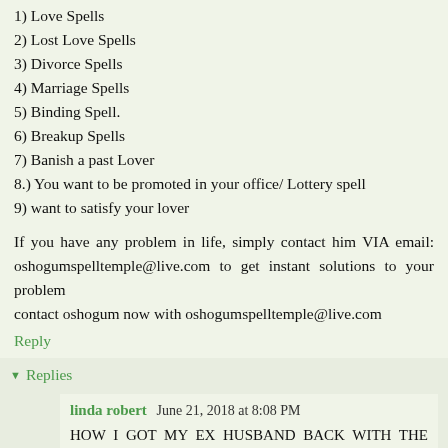1) Love Spells
2) Lost Love Spells
3) Divorce Spells
4) Marriage Spells
5) Binding Spell.
6) Breakup Spells
7) Banish a past Lover
8.) You want to be promoted in your office/ Lottery spell
9) want to satisfy your lover
If you have any problem in life, simply contact him VIA email: oshogumspelltemple@live.com to get instant solutions to your problem
contact oshogum now with oshogumspelltemple@live.com
Reply
Replies
linda robert  June 21, 2018 at 8:08 PM
HOW I GOT MY EX HUSBAND BACK WITH THE HELPOF DR PETER THE REAL ONLINE SPELL CASTER...